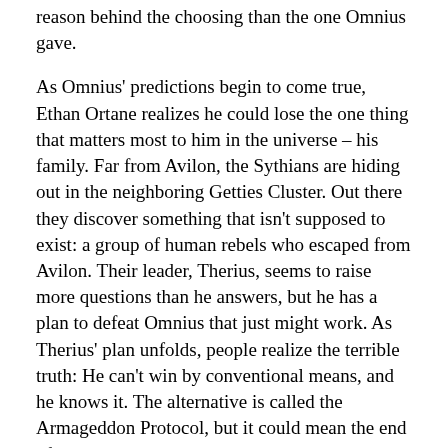reason behind the choosing than the one Omnius gave.
As Omnius' predictions begin to come true, Ethan Ortane realizes he could lose the one thing that matters most to him in the universe – his family. Far from Avilon, the Sythians are hiding out in the neighboring Getties Cluster. Out there they discover something that isn't supposed to exist: a group of human rebels who escaped from Avilon. Their leader, Therius, seems to raise more questions than he answers, but he has a plan to defeat Omnius that just might work. As Therius' plan unfolds, people realize the terrible truth: He can't win by conventional means, and he knows it. The alternative is called the Armageddon Protocol, but it could mean the end of everything, not just Omnius....
ABOUT THE AUTHORS